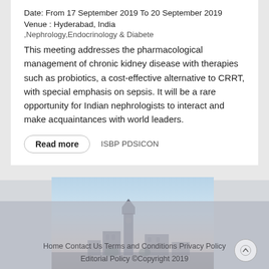Date: From 17 September 2019 To 20 September 2019
Venue : Hyderabad, India
,Nephrology,Endocrinology & Diabete
This meeting addresses the pharmacological management of chronic kidney disease with therapies such as probiotics, a cost-effective alternative to CRRT, with special emphasis on sepsis. It will be a rare opportunity for Indian nephrologists to interact and make acquaintances with world leaders.
Read more   ISBP PDSICON
[Figure (photo): City skyline with Westminster/Big Ben clock tower silhouette against a pastel blue and peach sky, partially overlaid with grey footer]
Home Contact Us Terms and Conditions Privacy Policy Editorial Policy ©Copyright 2019